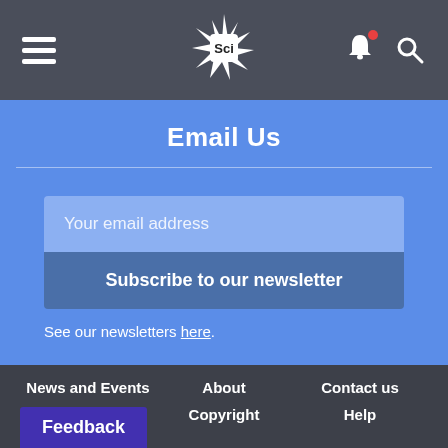Sci — navigation header with hamburger menu, logo, notification bell, and search icon
Email Us
Your email address
Subscribe to our newsletter
See our newsletters here.
News and Events | About | Contact us | Privacy | Copyright | Help | Feedback